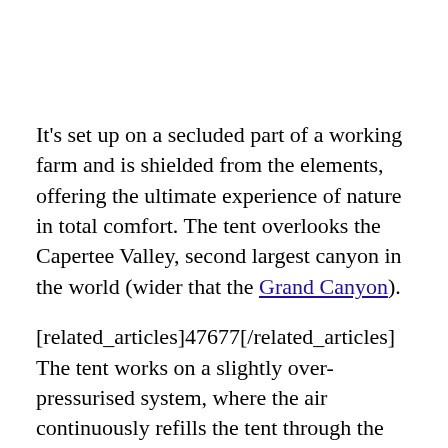It's set up on a secluded part of a working farm and is shielded from the elements, offering the ultimate experience of nature in total comfort. The tent overlooks the Capertee Valley, second largest canyon in the world (wider that the Grand Canyon).
[related_articles]47677[/related_articles] The tent works on a slightly over-pressurised system, where the air continuously refills the tent through the aid of an eco-turbine fully operated by batteries and solar.